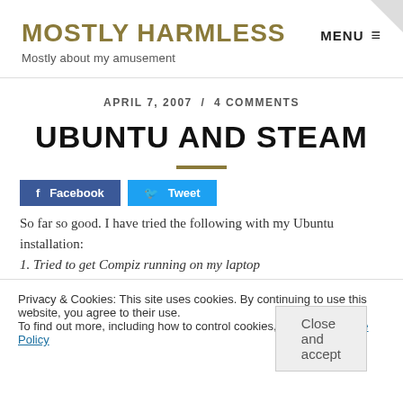MOSTLY HARMLESS
Mostly about my amusement
MENU
APRIL 7, 2007  /  4 COMMENTS
UBUNTU AND STEAM
Facebook   Tweet
Privacy & Cookies: This site uses cookies. By continuing to use this website, you agree to their use. To find out more, including how to control cookies, see here: Cookie Policy
So far so good. I have tried the following with my Ubuntu installation:
1. Tried to get Compiz running on my laptop